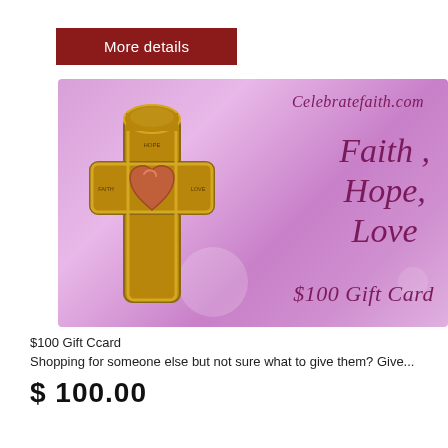[Figure (other): Dark red 'More details' button at top of page]
[Figure (illustration): Gift card image for Celebratefaith.com featuring a bronze cross with heart in center on a purple/pink background with text: Faith, Hope, Love $100 Gift Card]
$100 Gift Ccard
Shopping for someone else but not sure what to give them? Give...
$ 100.00